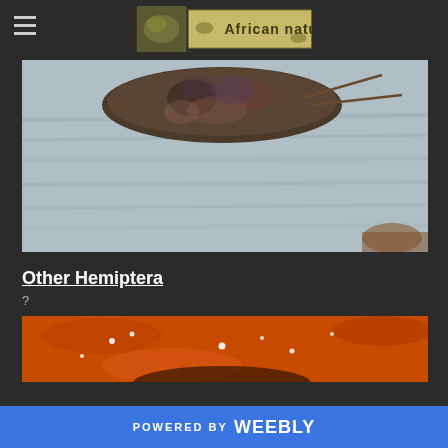African nature
[Figure (photo): Close-up photograph of an insect (hemiptera/bug) on a light blue wooden surface, showing mottled brown/dark coloring and visible legs]
Other Hemiptera
?
[Figure (photo): Close-up photograph of an insect on an orange/red textured surface with small white droplets visible]
POWERED BY weebly